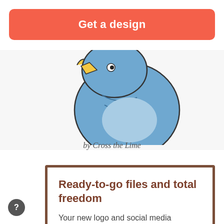Get a design
[Figure (illustration): Partial view of a blue cartoon bird illustration, holding a yellow pencil, crouching — bottom portion of the illustration visible]
by Cross the Lime
Ready-to-go files and total freedom
Your new logo and social media graphics come with production-ready files that